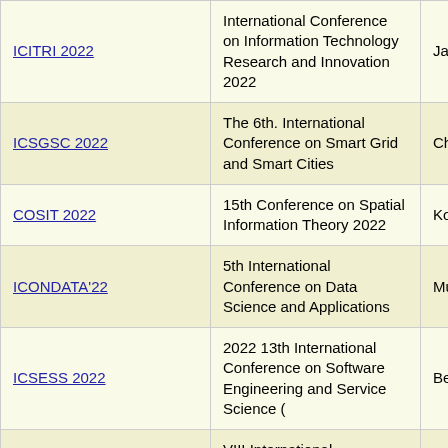| Conference | Full Name | Location |
| --- | --- | --- |
| ICITRI 2022 | International Conference on Information Technology Research and Innovation 2022 | Jakart… |
| ICSGSC 2022 | The 6th. International Conference on Smart Grid and Smart Cities | Cheng… |
| COSIT 2022 | 15th Conference on Spatial Information Theory 2022 | Kobe,… |
| ICONDATA'22 | 5th International Conference on Data Science and Applications | Muğla… |
| ICSESS 2022 | 2022 13th International Conference on Software Engineering and Service Science ( | Beijing… |
| IESTEC-2022 | VIII International Engineering Science and Technology | Panam… Panam… |